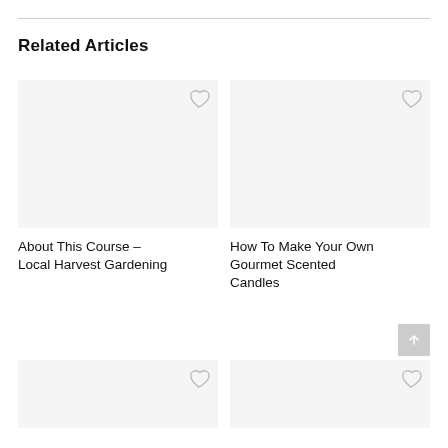Related Articles
[Figure (other): Article card image placeholder (blank white/light gray box) for About This Course – Local Harvest Gardening, with heart/favorite icon in top right]
About This Course – Local Harvest Gardening
[Figure (other): Article card image placeholder (blank white/light gray box) for How To Make Your Own Gourmet Scented Candles, with heart/favorite icon in top right]
How To Make Your Own Gourmet Scented Candles
[Figure (other): Article card image placeholder (blank white/light gray box) bottom left, with heart/favorite icon]
[Figure (other): Article card image placeholder (blank white/light gray box) bottom right, with heart/favorite icon]